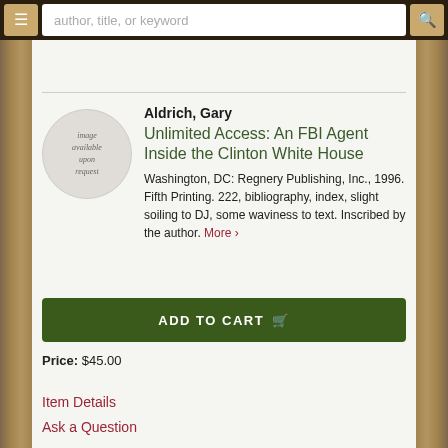author, title, or keyword
[Figure (illustration): Circular image placeholder reading 'image available upon request']
Aldrich, Gary
Unlimited Access: An FBI Agent Inside the Clinton White House
Washington, DC: Regnery Publishing, Inc., 1996. Fifth Printing. 222, bibliography, index, slight soiling to DJ, some waviness to text. Inscribed by the author. More >
ADD TO CART
Price: $45.00
Item Details
Ask a Question